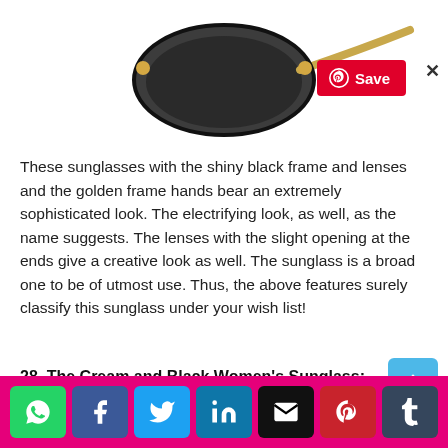[Figure (photo): Partial view of sunglasses with shiny black frame and golden frame hands, photographed against white background. A Pinterest 'Save' button overlay and close X button are visible.]
These sunglasses with the shiny black frame and lenses and the golden frame hands bear an extremely sophisticated look. The electrifying look, as well, as the name suggests. The lenses with the slight opening at the ends give a creative look as well. The sunglass is a broad one to be of utmost use. Thus, the above features surely classify this sunglass under your wish list!
28. The Cream and Black Women's Sunglass:
[Figure (other): Social share bar with icons for WhatsApp, Facebook, Twitter, LinkedIn, Email, Pinterest, and Tumblr on a pink/magenta background.]